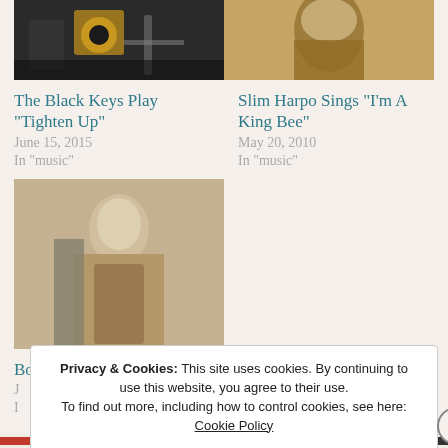[Figure (photo): Top-left photo: The Black Keys performing on stage with colorful lights]
The Black Keys Play “Tighten Up”
June 15, 2015
In “music”
[Figure (photo): Top-right photo: Slim Harpo smiling portrait in sepia tone]
Slim Harpo Sings “I’m A King Bee”
May 20, 2010
In “music”
[Figure (photo): Bottom-left photo: Bonnie Raitt standing next to a car, sepia/vintage tone]
Bonnie Raitt Sings “Love Me Like A Man”
J...
I...
Privacy & Cookies: This site uses cookies. By continuing to use this website, you agree to their use. To find out more, including how to control cookies, see here: Cookie Policy
Close and accept